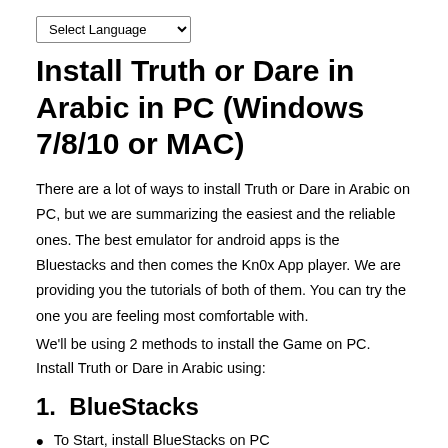Select Language
Install Truth or Dare in Arabic in PC (Windows 7/8/10 or MAC)
There are a lot of ways to install Truth or Dare in Arabic on PC, but we are summarizing the easiest and the reliable ones. The best emulator for android apps is the Bluestacks and then comes the Kn0x App player. We are providing you the tutorials of both of them. You can try the one you are feeling most comfortable with.
We'll be using 2 methods to install the Game on PC. Install Truth or Dare in Arabic using:
1.  BlueStacks
To Start, install BlueStacks on PC